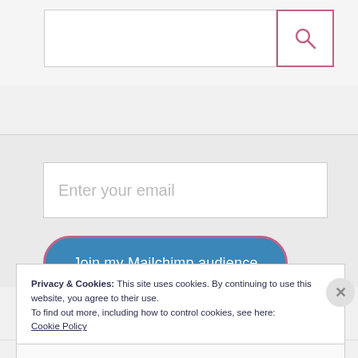[Figure (screenshot): Search bar UI with text input field and pink-bordered magnifying glass search button]
[Figure (screenshot): Email subscription input field with placeholder text 'Enter your email' and a blue rounded 'Join my Mailchimp audience' button with pink border]
Privacy & Cookies: This site uses cookies. By continuing to use this website, you agree to their use.
To find out more, including how to control cookies, see here:
Cookie Policy
Close and accept